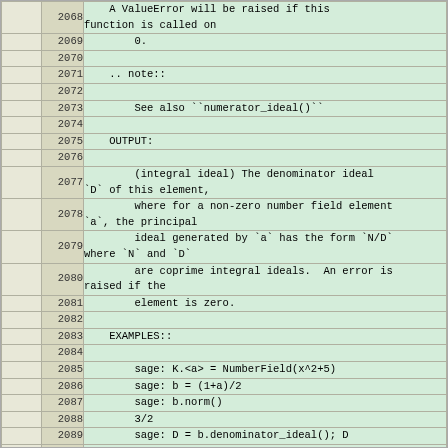|  | line | code |
| --- | --- | --- |
|  | 2068 |     A ValueError will be raised if this function is called on |
|  | 2069 |         0. |
|  | 2070 |  |
|  | 2071 |     .. note:: |
|  | 2072 |  |
|  | 2073 |         See also ``numerator_ideal()`` |
|  | 2074 |  |
|  | 2075 |     OUTPUT: |
|  | 2076 |  |
|  | 2077 |         (integral ideal) The denominator ideal `D` of this element, |
|  | 2078 |         where for a non-zero number field element `a`, the principal |
|  | 2079 |         ideal generated by `a` has the form `N/D` where `N` and `D` |
|  | 2080 |         are coprime integral ideals.  An error is raised if the |
|  | 2081 |         element is zero. |
|  | 2082 |  |
|  | 2083 |     EXAMPLES:: |
|  | 2084 |  |
|  | 2085 |         sage: K.<a> = NumberField(x^2+5) |
|  | 2086 |         sage: b = (1+a)/2 |
|  | 2087 |         sage: b.norm() |
|  | 2088 |         3/2 |
|  | 2089 |         sage: D = b.denominator_ideal(); D |
|  | 2090 |         Fractional ideal (2, a + 1) |
|  | 2091 |         sage: D.norm() |
|  | 2092 |         2 |
|  | 2093 |         sage: (1/b).denominator_ideal() |
|  | 2094 |         Fractional ideal (3, a + 1) |
|  | 2095 |  |